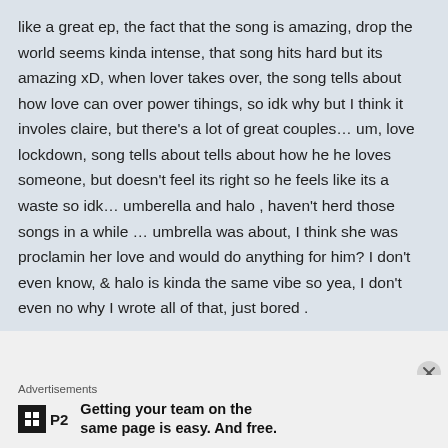like a great ep, the fact that the song is amazing, drop the world seems kinda intense, that song hits hard but its amazing xD, when lover takes over, the song tells about how love can over power tihings, so idk why but I think it involes claire, but there's a lot of great couples… um, love lockdown, song tells about tells about how he he loves someone, but doesn't feel its right so he feels like its a waste so idk… umberella and halo , haven't herd those songs in a while … umbrella was about, I think she was proclamin her love and would do anything for him? I don't even know, & halo is kinda the same vibe so yea, I don't even no why I wrote all of that, just bored .
Advertisements
Getting your team on the same page is easy. And free.